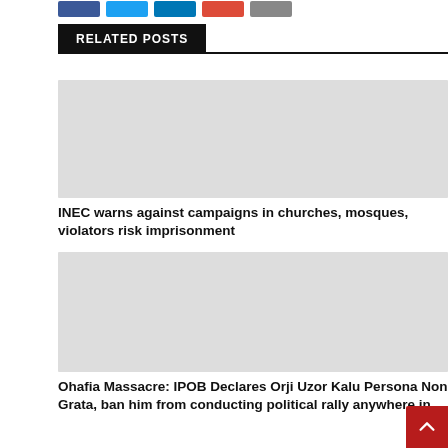[Figure (other): Social share buttons: Facebook (blue), Twitter (light blue), LinkedIn (dark blue), Google+ (red), Email (gray)]
RELATED POSTS
[Figure (photo): Placeholder gray image for related post 1]
INEC warns against campaigns in churches, mosques, violators risk imprisonment
[Figure (photo): Placeholder gray image for related post 2]
Ohafia Massacre: IPOB Declares Orji Uzor Kalu Persona Non Grata, ban him from conducting political rally anywhere in